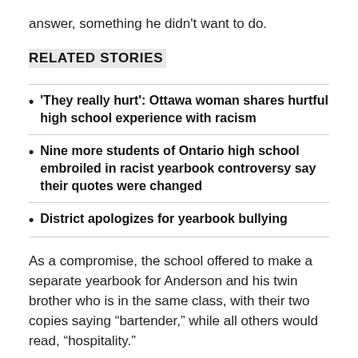answer, something he didn't want to do.
RELATED STORIES
'They really hurt': Ottawa woman shares hurtful high school experience with racism
Nine more students of Ontario high school embroiled in racist yearbook controversy say their quotes were changed
District apologizes for yearbook bullying
As a compromise, the school offered to make a separate yearbook for Anderson and his twin brother who is in the same class, with their two copies saying “bartender,” while all others would read, “hospitality.”